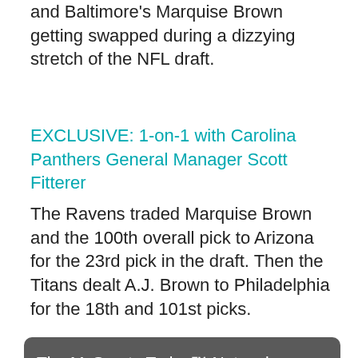and Baltimore's Marquise Brown getting swapped during a dizzying stretch of the NFL draft.
EXCLUSIVE: 1-on-1 with Carolina Panthers General Manager Scott Fitterer
The Ravens traded Marquise Brown and the 100th overall pick to Arizona for the 23rd pick in the draft. Then the Titans dealt A.J. Brown to Philadelphia for the 18th and 101st picks.
[Figure (screenshot): Cookie consent overlay popup with text: 'The MySports.Today™ Network uses cookies to ensure you receive the best experience while on our network of websites. Learn more' and a 'Got it!' button. Behind the overlay, partially visible body text about trades.]
The first round featured a record-tying six receivers selected, all in the first 18 selections, beginning with